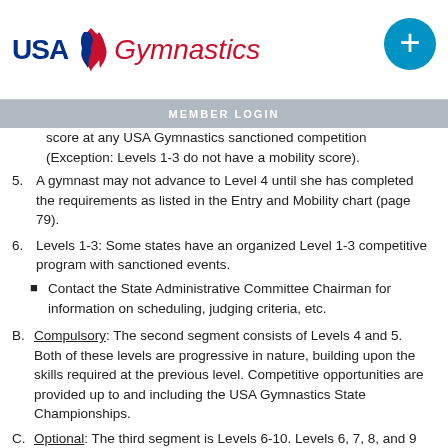USA Gymnastics — MEMBER LOGIN
score at any USA Gymnastics sanctioned competition (Exception: Levels 1-3 do not have a mobility score).
5. A gymnast may not advance to Level 4 until she has completed the requirements as listed in the Entry and Mobility chart (page 79).
6. Levels 1-3: Some states have an organized Level 1-3 competitive program with sanctioned events.
Contact the State Administrative Committee Chairman for information on scheduling, judging criteria, etc.
B. Compulsory: The second segment consists of Levels 4 and 5. Both of these levels are progressive in nature, building upon the skills required at the previous level. Competitive opportunities are provided up to and including the USA Gymnastics State Championships.
C. Optional: The third segment is Levels 6-10. Levels 6, 7, 8, and 9 have difficulty restrictions, while Level 10 has no